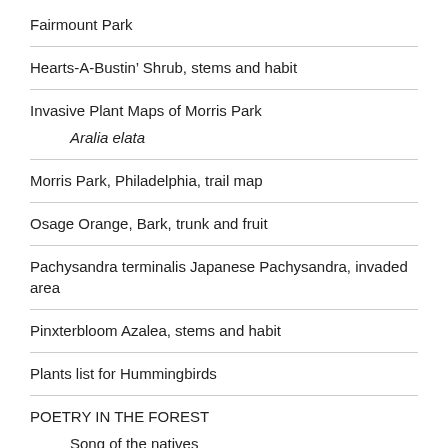Fairmount Park
Hearts-A-Bustin’ Shrub, stems and habit
Invasive Plant Maps of Morris Park
Aralia elata
Morris Park, Philadelphia, trail map
Osage Orange, Bark, trunk and fruit
Pachysandra terminalis Japanese Pachysandra, invaded area
Pinxterbloom Azalea, stems and habit
Plants list for Hummingbirds
POETRY IN THE FOREST
Song of the natives